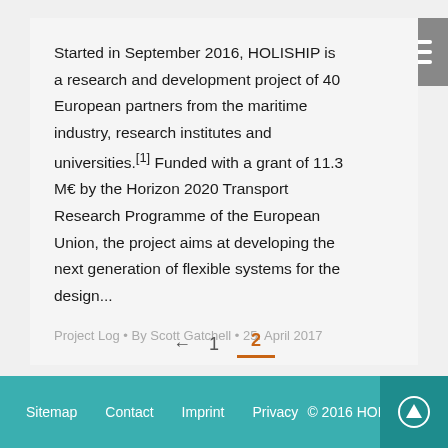Started in September 2016, HOLISHIP is a research and development project of 40 European partners from the maritime industry, research institutes and universities.[1] Funded with a grant of 11.3 M€ by the Horizon 2020 Transport Research Programme of the European Union, the project aims at developing the next generation of flexible systems for the design...
Project Log • By Scott Gatchell • 25. April 2017
← 1 2
Sitemap   Contact   Imprint   Privacy   © 2016 HOLISHIP